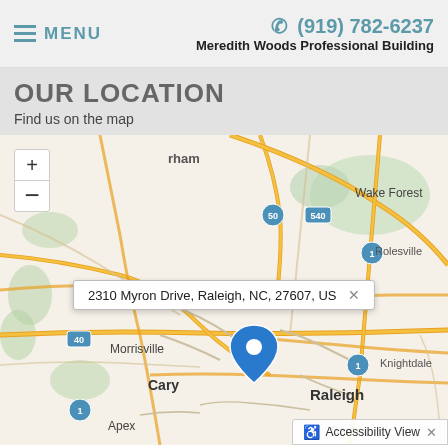≡ MENU | ☎ (919) 782-6237 | Meredith Woods Professional Building
OUR LOCATION
Find us on the map
[Figure (map): Interactive map showing Raleigh, NC area including Durham, Wake Forest, Rolesville, Morrisville, Cary, Knightdale, Apex, Garner, with a blue location pin at 2310 Myron Drive, Raleigh, NC, 27607, US. Map shows highways 40, 50, 70, 540, 1. Zoom +/- controls visible top left.]